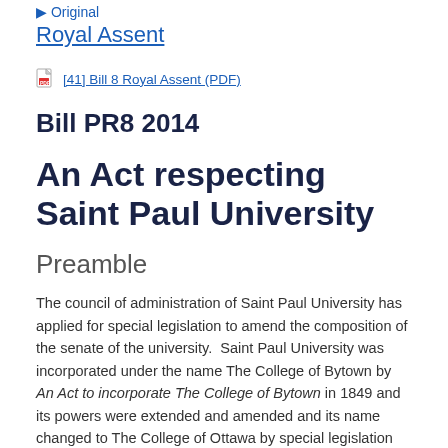▶ Original
Royal Assent
[41] Bill 8 Royal Assent (PDF)
Bill PR8 2014
An Act respecting Saint Paul University
Preamble
The council of administration of Saint Paul University has applied for special legislation to amend the composition of the senate of the university.  Saint Paul University was incorporated under the name The College of Bytown by An Act to incorporate The College of Bytown in 1849 and its powers were extended and amended and its name changed to The College of Ottawa by special legislation